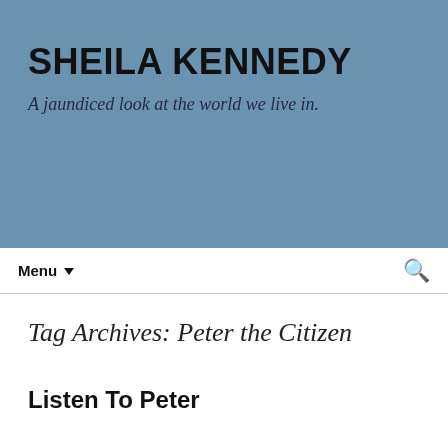SHEILA KENNEDY
A jaundiced look at the world we live in.
Menu ▾
Tag Archives: Peter the Citizen
Listen To Peter